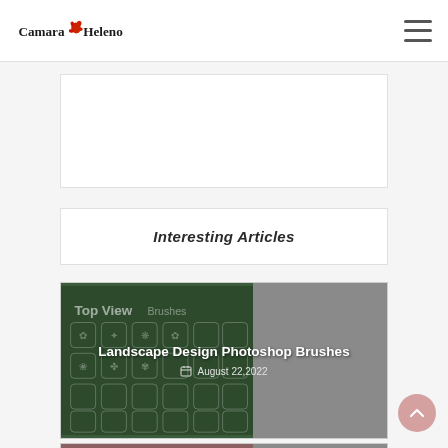Camara Heleno (logo) with hamburger menu icon
[Figure (other): Advertisement or banner placeholder white box]
Interesting Articles
[Figure (other): Article card: Landscape Design Photoshop Brushes with green brush icon grid background and grey sidebar area]
Landscape Design Photoshop Brushes
August 22,2022
[Figure (photo): Partial article card at bottom of page with reddish/dark image]